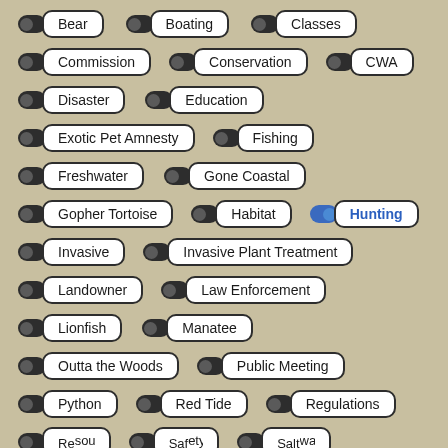[Figure (infographic): A grid of toggle-pill tag buttons on a tan/beige background. Each tag has a dark toggle switch on the left and a white rounded-rectangle pill label. Tags include: Bear, Boating, Classes, Commission, Conservation, CWA, Disaster, Education, Exotic Pet Amnesty, Fishing, Freshwater, Gone Coastal, Gopher Tortoise, Habitat, Hunting (active/blue), Invasive, Invasive Plant Treatment, Landowner, Law Enforcement, Lionfish, Manatee, Outta the Woods, Public Meeting, Python, Red Tide, Regulations, and partially visible bottom row.]